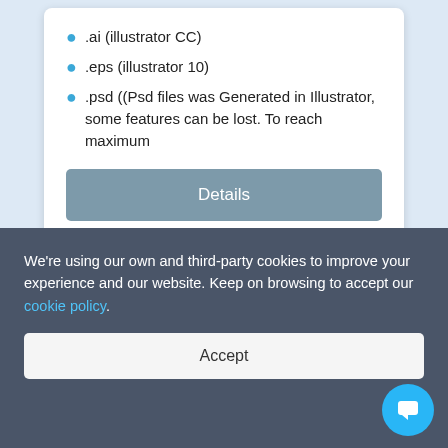.ai (illustrator CC)
.eps (illustrator 10)
.psd ((Psd files was Generated in Illustrator, some features can be lost. To reach maximum
Details
[Figure (logo): Teal and gold company logo mark, partially visible]
We're using our own and third-party cookies to improve your experience and our website. Keep on browsing to accept our cookie policy.
Accept